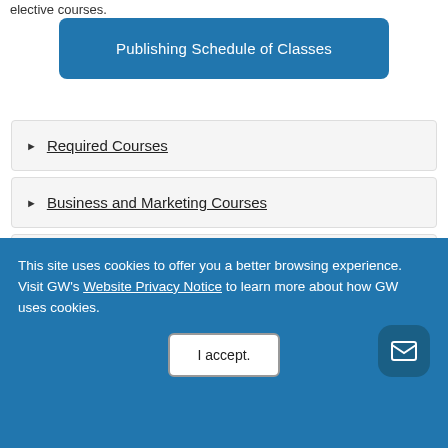elective courses.
Publishing Schedule of Classes
Required Courses
Business and Marketing Courses
Editorial Courses
Technology, Production and Design Courses
This site uses cookies to offer you a better browsing experience. Visit GW's Website Privacy Notice to learn more about how GW uses cookies.
I accept.